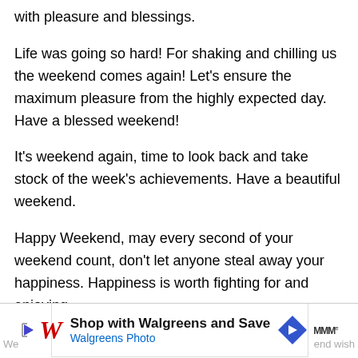with pleasure and blessings.
Life was going so hard! For shaking and chilling us the weekend comes again! Let’s ensure the maximum pleasure from the highly expected day. Have a blessed weekend!
It's weekend again, time to look back and take stock of the week's achievements. Have a beautiful weekend.
Happy Weekend, may every second of your weekend count, don’t let anyone steal away your happiness. Happiness is worth fighting for and enjoying.
Saturdays and Sundays are the best days of the week, they are stress-free days where you get to share the love with your loved one. They are days you create some of the best memories. Happy weekend!
[Figure (screenshot): Advertisement banner for Walgreens Photo: 'Shop with Walgreens and Save / Walgreens Photo' with play button, Walgreens W logo, navigation arrow, and Nielsen logo. Partial text 'We...' on left and '...end wish' on right.]